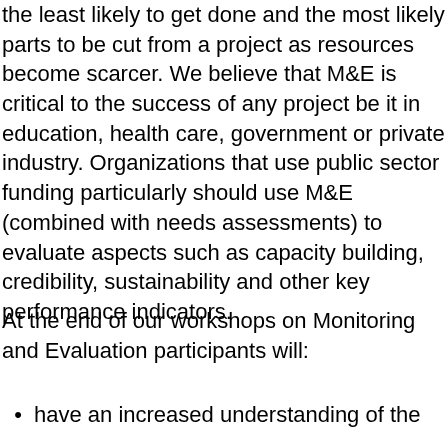the least likely to get done and the most likely parts to be cut from a project as resources become scarcer. We believe that M&E is critical to the success of any project be it in education, health care, government or private industry. Organizations that use public sector funding particularly should use M&E (combined with needs assessments) to evaluate aspects such as capacity building, credibility, sustainability and other key performance indicators.
At the end of our workshops on Monitoring and Evaluation participants will:
have an increased understanding of the